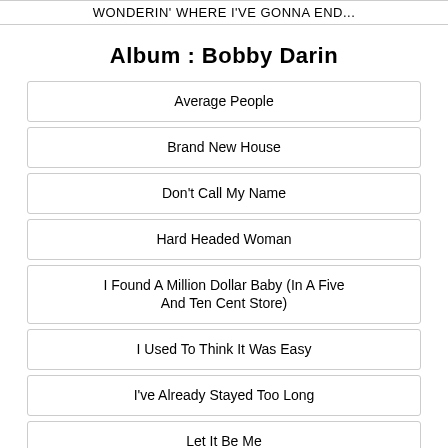WONDERIN' WHERE I'VE GONNA END...
Album : Bobby Darin
Average People
Brand New House
Don't Call My Name
Hard Headed Woman
I Found A Million Dollar Baby (In A Five And Ten Cent Store)
I Used To Think It Was Easy
I've Already Stayed Too Long
Let It Be Me
My First Night Alone Without You